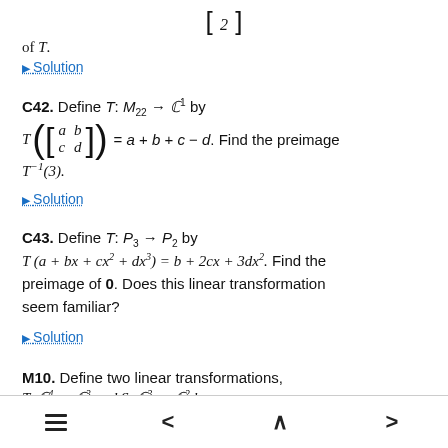of T.
▶ Solution
C42. Define T: M₂₂ → C¹ by T([[a, b],[c, d]]) = a + b + c − d. Find the preimage T⁻¹(3).
▶ Solution
C43. Define T: P₃ → P₂ by T(a + bx + cx² + dx³) = b + 2cx + 3dx². Find the preimage of 0. Does this linear transformation seem familiar?
▶ Solution
M10. Define two linear transformations, T: C⁴ → C³ and S: C³ → C² by
≡  <  ∧  >